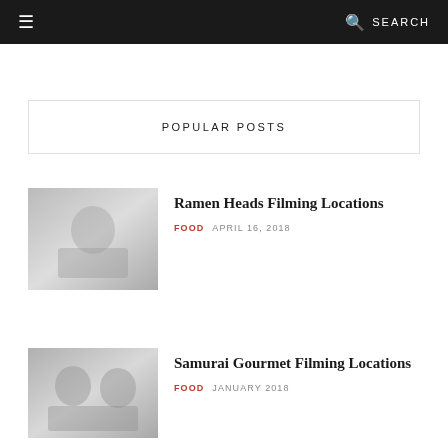☰  🔍 SEARCH
POPULAR POSTS
[Figure (photo): Person eating ramen at a restaurant counter, grayscale photo]
Ramen Heads Filming Locations
FOOD  APRIL 16, 2018
[Figure (photo): Two people dining, grayscale photo]
Samurai Gourmet Filming Locations
FOOD  JANUARY 2018